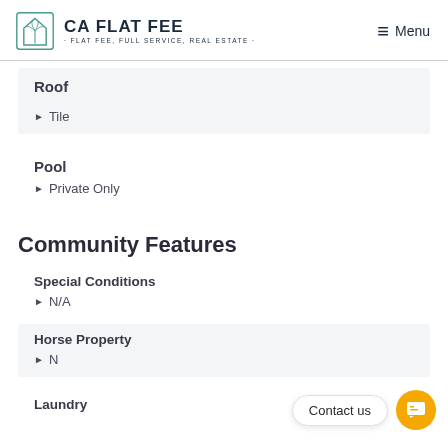CA FLAT FEE · FLAT FEE, FULL SERVICE, REAL ESTATE · Menu
Roof
Tile
Pool
Private Only
Community Features
Special Conditions
N/A
Horse Property
N
Laundry